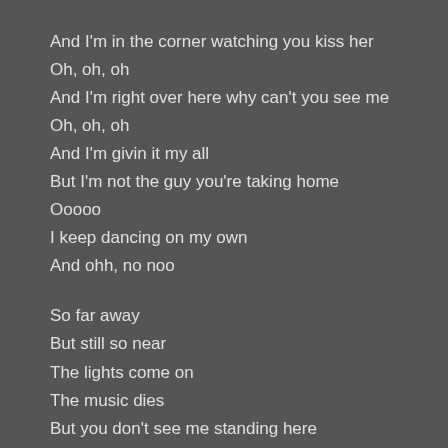And I'm in the corner watching you kiss her
Oh, oh, oh
And I'm right over here why can't you see me
Oh, oh, oh
And I'm givin it my all
But I'm not the guy you're taking home
Oooo
I keep dancing on my own
And ohh, no noo

So far away
But still so near
The lights come on
The music dies
But you don't see me standing here
I just came to say goodbye

And I'm in the corner watching you kiss her
Ohhhhhhh